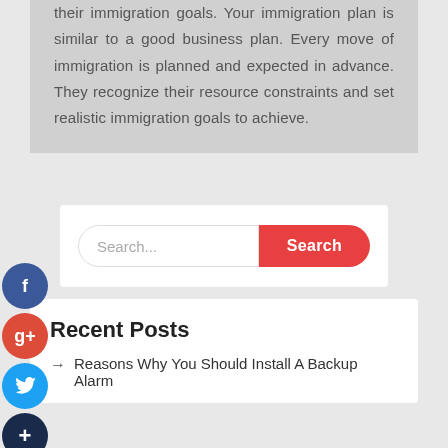their immigration goals. Your immigration plan is similar to a good business plan. Every move of immigration is planned and expected in advance. They recognize their resource constraints and set realistic immigration goals to achieve.
[Figure (screenshot): Search bar widget with placeholder text 'Search...' and a red rounded 'Search' button]
Recent Posts
Reasons Why You Should Install A Backup Alarm